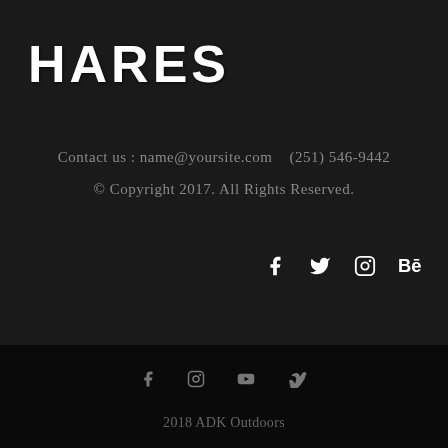HARES
Contact us : name@yoursite.com   (251) 546-9442
© Copyright 2017. All Rights Reserved.
[Figure (other): Social media icons: Facebook, Twitter, Instagram, Behance]
[Figure (other): Social media icons: Facebook, Instagram, YouTube, Vimeo]
2018 ADK Outdoors